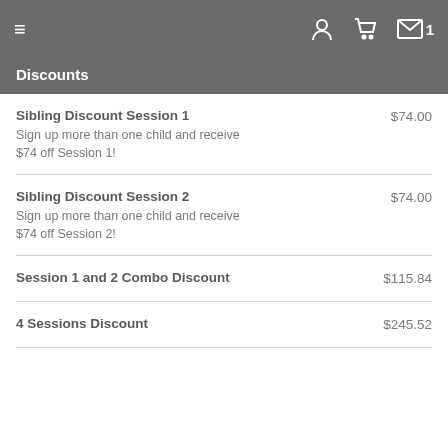≡  [user icon] [cart icon] [mail icon] 1
Discounts
Sibling Discount Session 1  $74.00
Sign up more than one child and receive $74 off Session 1!
Sibling Discount Session 2  $74.00
Sign up more than one child and receive $74 off Session 2!
Session 1 and 2 Combo Discount  $115.84
4 Sessions Discount  $245.52